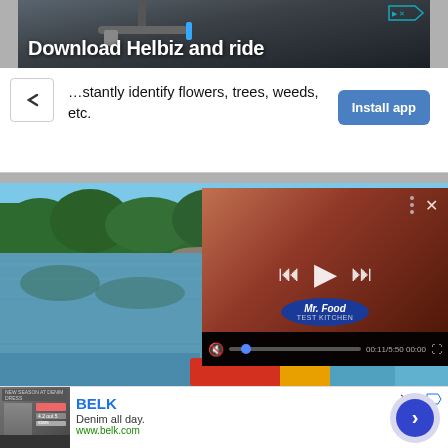[Figure (screenshot): Advertisement banner for Helbiz scooter app with dark background showing handlebar and text 'Download Helbiz and ride']
[Figure (screenshot): App install prompt banner: 'instantly identify flowers, trees, weeds, etc.' with blue 'Install app' button]
[Figure (screenshot): Lake scene with embedded Mr. Food Test Kitchen video player overlay showing playback controls]
[Figure (screenshot): BELK advertisement banner: 'Denim all day. www.belk.com' with circular CTA button]